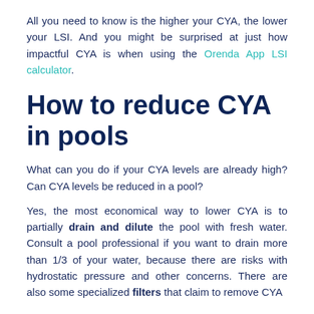All you need to know is the higher your CYA, the lower your LSI. And you might be surprised at just how impactful CYA is when using the Orenda App LSI calculator.
How to reduce CYA in pools
What can you do if your CYA levels are already high? Can CYA levels be reduced in a pool?
Yes, the most economical way to lower CYA is to partially drain and dilute the pool with fresh water. Consult a pool professional if you want to drain more than 1/3 of your water, because there are risks with hydrostatic pressure and other concerns. There are also some specialized filters that claim to remove CYA